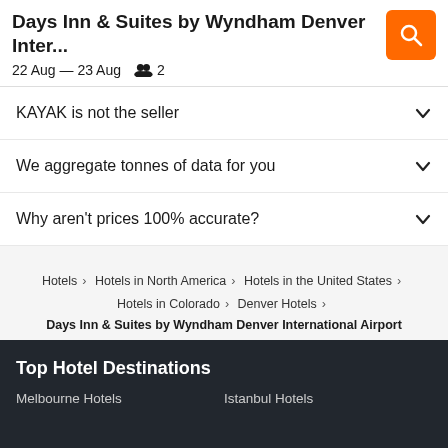Days Inn & Suites by Wyndham Denver Inter... | 22 Aug – 23 Aug | 2
KAYAK is not the seller
We aggregate tonnes of data for you
Why aren't prices 100% accurate?
Hotels > Hotels in North America > Hotels in the United States > Hotels in Colorado > Denver Hotels > Days Inn & Suites by Wyndham Denver International Airport
Top Hotel Destinations
Melbourne Hotels | Istanbul Hotels